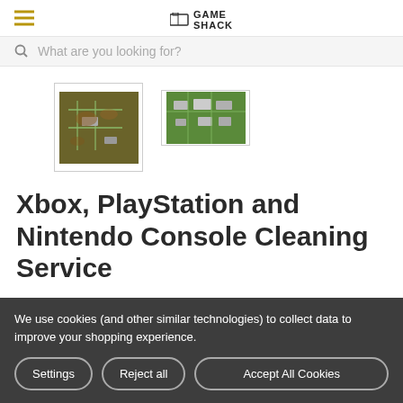Game Shack
What are you looking for?
[Figure (photo): Two thumbnail images of gaming console circuit boards being cleaned]
Xbox, PlayStation and Nintendo Console Cleaning Service
We use cookies (and other similar technologies) to collect data to improve your shopping experience.
Settings | Reject all | Accept All Cookies